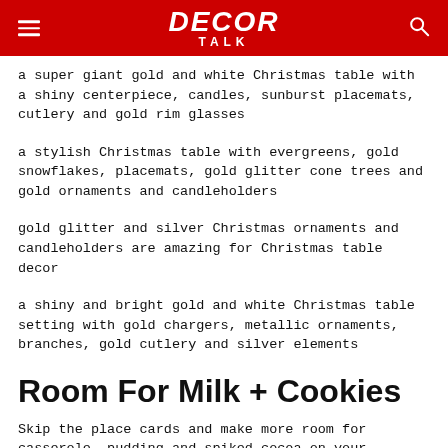DECOR TALK
a super giant gold and white Christmas table with a shiny centerpiece, candles, sunburst placemats, cutlery and gold rim glasses
a stylish Christmas table with evergreens, gold snowflakes, placemats, gold glitter cone trees and gold ornaments and candleholders
gold glitter and silver Christmas ornaments and candleholders are amazing for Christmas table decor
a shiny and bright gold and white Christmas table setting with gold chargers, metallic ornaments, branches, gold cutlery and silver elements
Room For Milk + Cookies
Skip the place cards and make more room for casserole, pudding and spiked cocoa on your Christmas table with a chalkboard paper runner